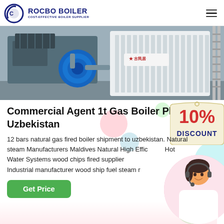ROCBO BOILER - COST-EFFECTIVE BOILER SUPPLIER
[Figure (photo): Industrial gas boiler with blue burner motor and white radiator panel, industrial setting]
Commercial Agent 1t Gas Boiler Plant Uzbekistan
[Figure (infographic): 10% DISCOUNT promotional badge in red and dark blue text on cream tag background]
12 bars natural gas fired boiler shipment to uzbekistan. Natural steam Manufacturers Maldives Natural High Efficiency Hot Water Systems wood chips fired supplier Industrial manufacturer wood ship fuel steam r
[Figure (photo): Customer service agent woman with headset smiling]
Get Price